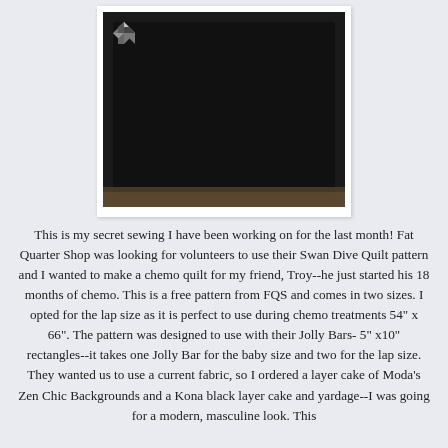[Figure (photo): A black and white geometric quilt with a star/pinwheel pattern (Swan Dive Quilt) displayed outdoors, shown in a white photo frame against a light lavender-gray background.]
This is my secret sewing I have been working on for the last month! Fat Quarter Shop was looking for volunteers to use their Swan Dive Quilt pattern and I wanted to make a chemo quilt for my friend, Troy--he just started his 18 months of chemo. This is a free pattern from FQS and comes in two sizes. I opted for the lap size as it is perfect to use during chemo treatments 54" x 66". The pattern was designed to use with their Jolly Bars- 5" x10" rectangles--it takes one Jolly Bar for the baby size and two for the lap size. They wanted us to use a current fabric, so I ordered a layer cake of Moda's Zen Chic Backgrounds and a Kona black layer cake and yardage--I was going for a modern, masculine look. This